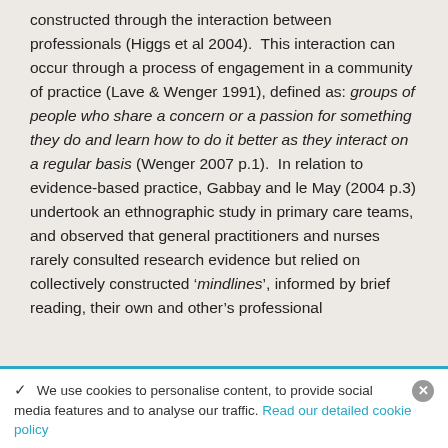constructed through the interaction between professionals (Higgs et al 2004).  This interaction can occur through a process of engagement in a community of practice (Lave & Wenger 1991), defined as: groups of people who share a concern or a passion for something they do and learn how to do it better as they interact on a regular basis (Wenger 2007 p.1).  In relation to evidence-based practice, Gabbay and le May (2004 p.3) undertook an ethnographic study in primary care teams, and observed that general practitioners and nurses rarely consulted research evidence but relied on collectively constructed 'mindlines', informed by brief reading, their own and other's professional
✓  We use cookies to personalise content, to provide social media features and to analyse our traffic. Read our detailed cookie policy